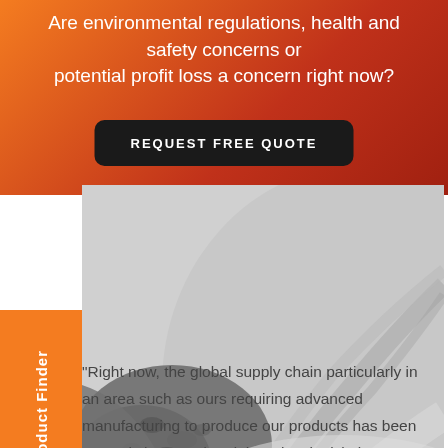Are environmental regulations, health and safety concerns or potential profit loss a concern right now?
REQUEST FREE QUOTE
[Figure (photo): Black and white photograph of gravel and dust/powder material on a road or industrial surface, showing tire tracks in the powder.]
Product Finder
“Right now, the global supply chain particularly in an area such as ours requiring advanced manufacturing to produce our products has been severely impacted and there is a legislative requirement from most of the various state